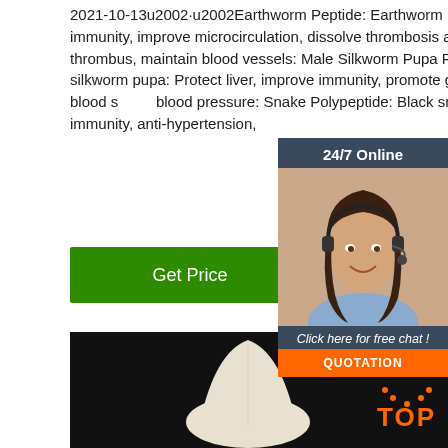2021-10-13u2002·u2002Earthworm Peptide: Earthworm Dry: Enhance immunity, improve microcirculation, dissolve thrombosis and clear thrombus, maintain blood vessels: Male Silkworm Pupa Peptide: Male silkworm pupa: Protect liver, improve immunity, promote growth, lower blood s... blood pressure: Snake Polypeptide: Black snake immunity, anti-hypertension,
[Figure (screenshot): 24/7 Online chat widget with customer service representative photo and QUOTATION button]
[Figure (photo): Product photo: white/cream colored powder or pellet in a dark/black container]
[Figure (illustration): TOP badge logo in orange]